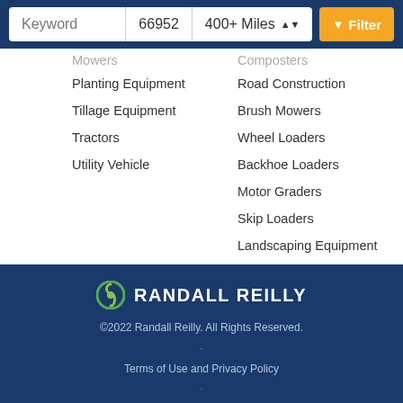[Figure (screenshot): Search bar with Keyword field, zip code 66952, 400+ Miles dropdown, and orange Filter button on dark blue background]
Mowers (partial, truncated)
Composters (partial, truncated)
Planting Equipment
Road Construction
Tillage Equipment
Brush Mowers
Tractors
Wheel Loaders
Utility Vehicle
Backhoe Loaders
Motor Graders
Skip Loaders
Landscaping Equipment
©2022 Randall Reilly. All Rights Reserved. · Terms of Use and Privacy Policy · Point of Collection Notice · Do Not Sell My Personal Information
[Figure (logo): Randall Reilly logo with green/yellow circular icon and bold white text RANDALL REILLY]